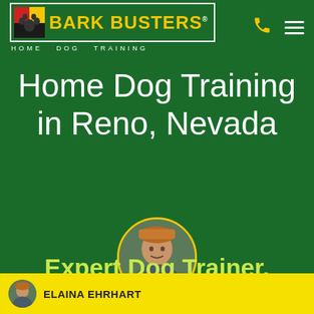[Figure (logo): Bark Busters Home Dog Training logo with paw print icon and yellow text on green background with white border]
Home Dog Training in Reno, Nevada
[Figure (photo): Circular portrait photo of dog trainer Elaina Ehrhart wearing an orange knit hat, outdoors in winter setting, framed with yellow circle border]
Expert Dog Trainer, Elaina Ehrhart
CLICK HERE TO SELECT ANOTHER TRAINER
ELAINA EHRHART